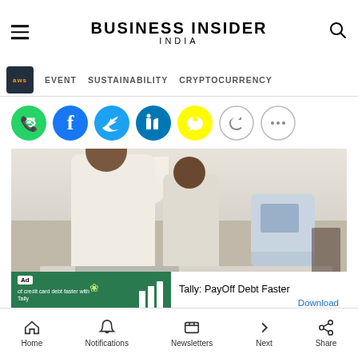BUSINESS INSIDER INDIA
EVENT   SUSTAINABILITY   CRYPTOCURRENCY
[Figure (illustration): Social sharing icons row: WhatsApp (green), Facebook (dark blue), Twitter (blue), LinkedIn (blue), Snapchat (yellow), Link, More]
[Figure (photo): Two men standing at a table with electronic voting machine (EVM) and VVPAT equipment in an exhibition booth. An advertisement overlay shows 'Tally: PayOff Debt Faster' with a Download link.]
Home   Notifications   Newsletters   Next   Share